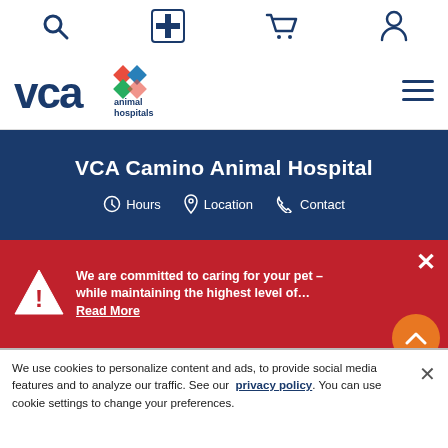VCA Animal Hospitals – top navigation bar with search, medical cross, cart, and account icons
[Figure (logo): VCA Animal Hospitals logo with blue VCA text, colored diamond shapes, and 'animal hospitals' text]
VCA Camino Animal Hospital
Hours  Location  Contact
We are committed to caring for your pet – while maintaining the highest level of... Read More
[Figure (photo): Photo of a pet (dog with orange/brown fur) being examined by a veterinarian in white coat]
We use cookies to personalize content and ads, to provide social media features and to analyze our traffic. See our privacy policy. You can use cookie settings to change your preferences.